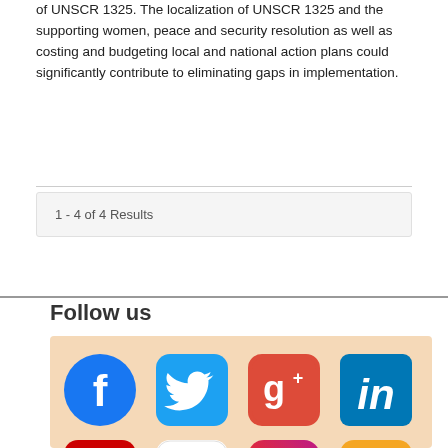of UNSCR 1325. The localization of UNSCR 1325 and the supporting women, peace and security resolution as well as costing and budgeting local and national action plans could significantly contribute to eliminating gaps in implementation.
1 - 4 of 4 Results
Follow us
[Figure (infographic): Social media icons on a light orange background: Facebook, Twitter, Google+, LinkedIn (top row); YouTube, Flickr, Instagram, RSS (second row); partially visible icons in third row.]